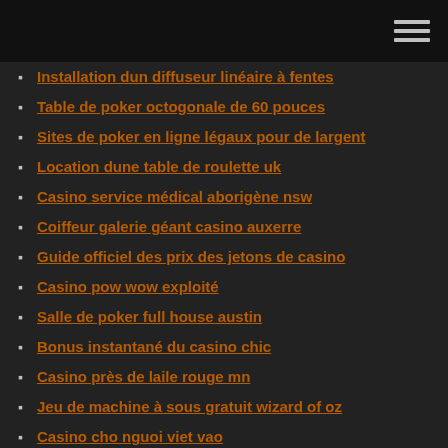Installation dun diffuseur linéaire à fentes
Table de poker octogonale de 60 pouces
Sites de poker en ligne légaux pour de largent
Location dune table de roulette uk
Casino service médical aborigène nsw
Coiffeur galerie géant casino auxerre
Guide officiel des prix des jetons de casino
Casino pow wow exploité
Salle de poker full house austin
Bonus instantané du casino chic
Casino près de laile rouge mn
Jeu de machine à sous gratuit wizard of oz
Casino cho nguoi viet vao
Poker une main à la fois